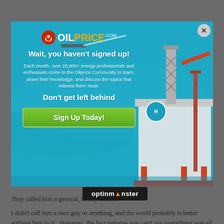[Figure (screenshot): OilPrice.com popup modal over a blue ocean background with an oil rig on the right. Contains logo, headline text, body text, subheadline, and green Sign Up Today button. Close button (X) in top-right corner.]
They called him a general, not by choice.
I didn't call him a nice guy or anything, and the world probably is better without him in it.  However, the fact remains you can't say everything was all peaceful under Trump.  Well, the cult will say
optinmonster